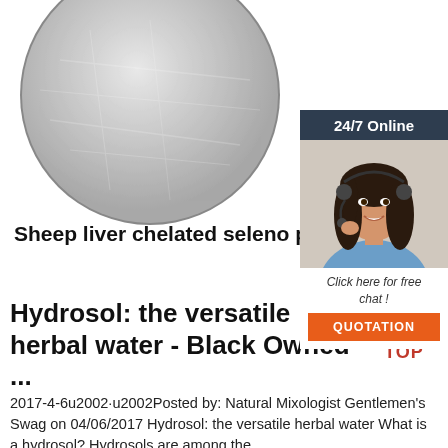[Figure (photo): Circular photo of white/grey powder (sheep liver chelated selenium product), cropped circle shape on white background]
[Figure (infographic): Sidebar box with dark navy background showing '24/7 Online' text, photo of woman with headset smiling, 'Click here for free chat!' text, and orange QUOTATION button]
Sheep liver chelated seleno p
Hydrosol: the versatile herbal water - Black Owned ...
2017-4-6u2002·u2002Posted by: Natural Mixologist Gentlemen's Swag on 04/06/2017 Hydrosol: the versatile herbal water What is a hydrosol? Hydrosols are among the